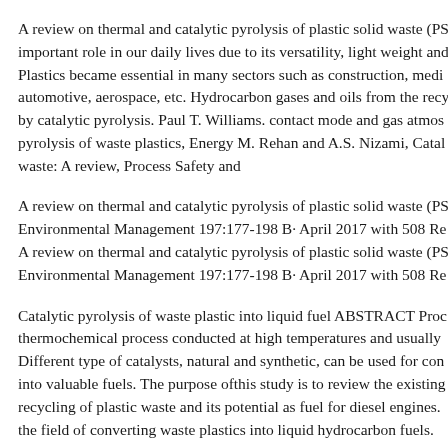A review on thermal and catalytic pyrolysis of plastic solid waste (PS important role in our daily lives due to its versatility, light weight and Plastics became essential in many sectors such as construction, medi automotive, aerospace, etc. Hydrocarbon gases and oils from the recy by catalytic pyrolysis. Paul T. Williams. contact mode and gas atmos pyrolysis of waste plastics, Energy M. Rehan and A.S. Nizami, Catal waste: A review, Process Safety and
A review on thermal and catalytic pyrolysis of plastic solid waste (PS Environmental Management 197:177-198 B· April 2017 with 508 Re A review on thermal and catalytic pyrolysis of plastic solid waste (PS Environmental Management 197:177-198 B· April 2017 with 508 Re
Catalytic pyrolysis of waste plastic into liquid fuel ABSTRACT Proc thermochemical process conducted at high temperatures and usually Different type of catalysts, natural and synthetic, can be used for con into valuable fuels. The purpose ofthis study is to review the existing recycling of plastic waste and its potential as fuel for diesel engines. the field of converting waste plastics into liquid hydrocarbon fuels.